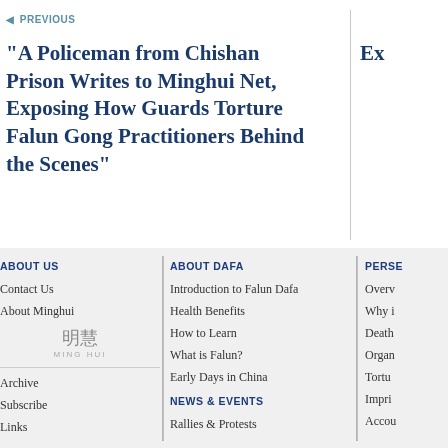◄ PREVIOUS
"A Policeman from Chishan Prison Writes to Minghui Net, Exposing How Guards Torture Falun Gong Practitioners Behind the Scenes"
Ex
ABOUT US
Contact Us
About Minghui
[Figure (logo): Ming Hui Chinese characters logo with text MING HUI below]
Archive
Subscribe
Links
ABOUT DAFA
Introduction to Falun Dafa
Health Benefits
How to Learn
What is Falun?
Early Days in China
NEWS & EVENTS
Rallies & Protests
PERSE
Overv
Why i
Death
Organ
Tortu
Impri
Accou